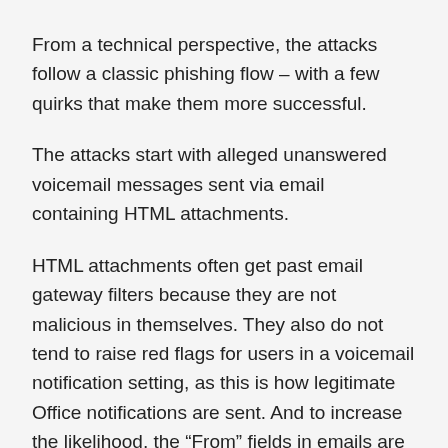From a technical perspective, the attacks follow a classic phishing flow – with a few quirks that make them more successful.
The attacks start with alleged unanswered voicemail messages sent via email containing HTML attachments.
HTML attachments often get past email gateway filters because they are not malicious in themselves. They also do not tend to raise red flags for users in a voicemail notification setting, as this is how legitimate Office notifications are sent. And to increase the likelihood, the “From” fields in emails are designed specifically to match the name of the targeted organization,